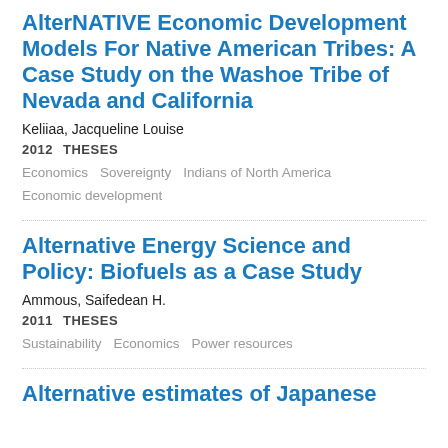AlterNATIVE Economic Development Models For Native American Tribes: A Case Study on the Washoe Tribe of Nevada and California
Keliiaa, Jacqueline Louise
2012  THESES
Economics  Sovereignty  Indians of North America  Economic development
Alternative Energy Science and Policy: Biofuels as a Case Study
Ammous, Saifedean H.
2011  THESES
Sustainability  Economics  Power resources
Alternative estimates of Japanese